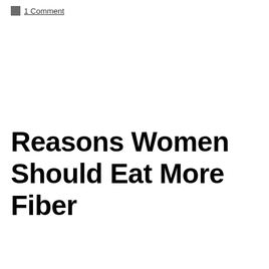1 Comment
Reasons Women Should Eat More Fiber